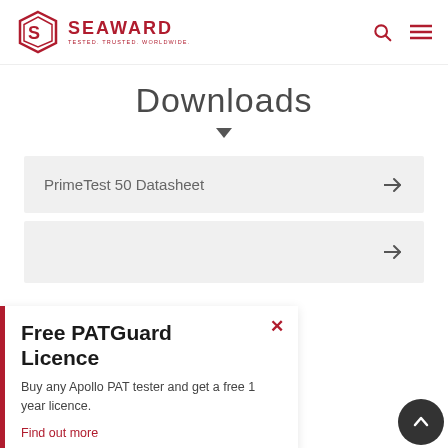[Figure (logo): Seaward logo with hexagon icon and text SEAWARD TESTED. TRUSTED. WORLDWIDE.]
Downloads
PrimeTest 50 Datasheet →
→ (second download item, partially visible)
Free PATGuard Licence
Buy any Apollo PAT tester and get a free 1 year licence.
Find out more